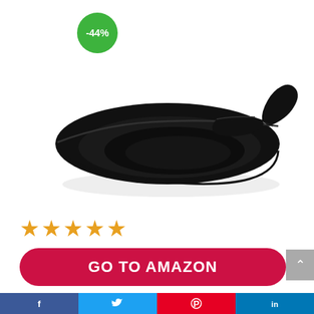[Figure (photo): Black cast iron skillet with handle and helper handle, viewed from above at an angle. A green circular badge shows -44% discount in the top left area of the image.]
★★★★★
GO TO AMAZON
Amazon.com
Last update was on: September 2, 2022 10:38 am